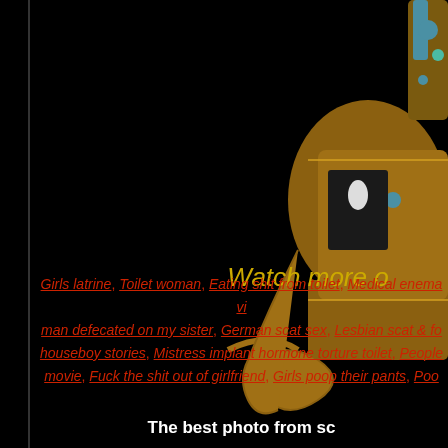[Figure (photo): Ornate jeweled crown or scepter with gold and colorful gemstones on black background, partially visible on the right side of the page]
Watch more o
Girls latrine, Toilet woman, Eating shit from toilet, Medical enema vi... man defecated on my sister, German scat sex, Lesbian scat & fo... houseboy stories, Mistress implant hormone torture toilet, People... movie, Fuck the shit out of girlfriend, Girls poop their pants, Poo...
The best photo from sc